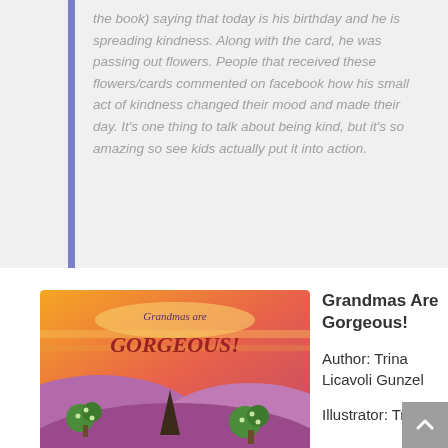the book) saying that today is his birthday and he is spreading kindness. Along with the card, he was passing out flowers. People that received these flowers/cards commented on facebook how his small act of kindness changed their mood and made their day. It's one thing to talk about being kind, but it's so amazing so see kids actually put it into action.
[Figure (illustration): Book cover of 'Grandmas Are Gorgeous!' showing colorful illustrated landscape with stylized hills, trees and warm orange/red/yellow sunset background.]
Grandmas Are Gorgeous!
Author: Trina Licavoli Gunzel
Illustrator: Trina